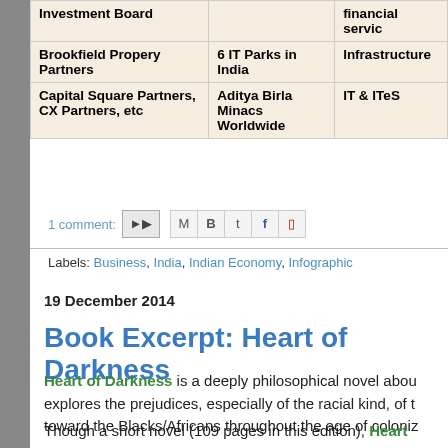| Investor | Investment | Sector |
| --- | --- | --- |
| Investment Board |  | financial service |
| Brookfield Propery Partners | 6 IT Parks in India | Infrastructure |
| Capital Square Partners, CX Partners, etc | Aditya Birla Minacs Worldwide | IT & ITeS |
1 comment:
Labels: Business, India, Indian Economy, Infographic
19 December 2014
Book Excerpt: Heart of Darkness
Heart of Darkness is a deeply philosophical novel about explores the prejudices, especially of the racial kind, of toward the Blacks/Africans throughout the age of coloni
Though a short novel (109 pages in this edition), Heart colonialism, imperialism and a false sense of racial supe